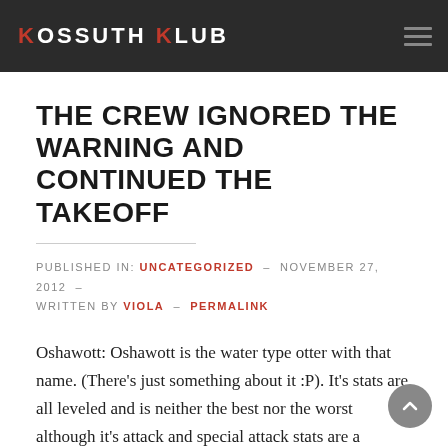KOSSUTH KLUB
THE CREW IGNORED THE WARNING AND CONTINUED THE TAKEOFF
PUBLISHED IN: UNCATEGORIZED - NOVEMBER 27, 2012 - WRITTEN BY VIOLA - PERMALINK
Oshawott: Oshawott is the water type otter with that name. (There’s just something about it :P). It’s stats are all leveled and is neither the best nor the worst although it’s attack and special attack stats are a slightly higher than the rest of stats. “I’ve been working on the sector for 31 years and the students are the best part of my job. That’s why I get up in